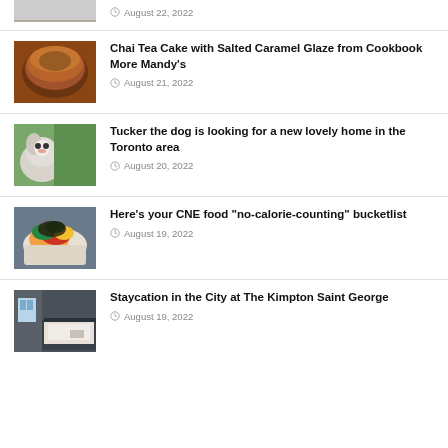[Figure (photo): Partial thumbnail of a room/furniture item at top of page]
August 22, 2022
[Figure (photo): Bundt cake with caramel glaze]
Chai Tea Cake with Salted Caramel Glaze from Cookbook More Mandy's
August 21, 2022
[Figure (photo): White fluffy dog looking at camera]
Tucker the dog is looking for a new lovely home in the Toronto area
August 20, 2022
[Figure (photo): Bowl of colorful CNE food]
Here’s your CNE food “no-calorie-counting” bucketlist
August 19, 2022
[Figure (photo): Hotel room with bed at The Kimpton Saint George]
Staycation in the City at The Kimpton Saint George
August 19, 2022